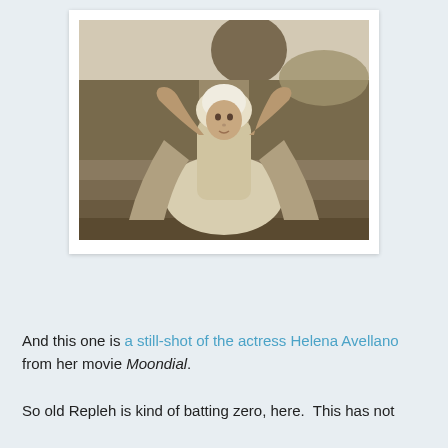[Figure (photo): Sepia-toned still-shot photograph of actress Helena Avellano in period costume — a white bonnet, white dress, and a draped cape — with arms raised, sitting on stone steps in a garden setting with hedges in the background. The photo is mounted on a white card/polaroid-style background with a subtle shadow.]
And this one is a still-shot of the actress Helena Avellano from her movie Moondial.
So old Repleh is kind of batting zero, here.  This has not